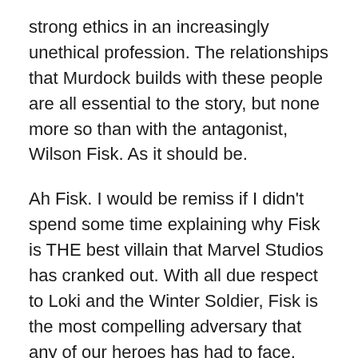strong ethics in an increasingly unethical profession. The relationships that Murdock builds with these people are all essential to the story, but none more so than with the antagonist, Wilson Fisk. As it should be.
Ah Fisk. I would be remiss if I didn't spend some time explaining why Fisk is THE best villain that Marvel Studios has cranked out. With all due respect to Loki and the Winter Soldier, Fisk is the most compelling adversary that any of our heroes has had to face. He's a beast of a man who seems physically insurmountable, and yet it runs so much deeper than that. I hate to use this phrase, but the show does such a good job at humanizing him. It holds up Fisk's childhood next to Murdock's and we see through a set of wildly different circumstances why each character ended up the way that they did. You may not agree with